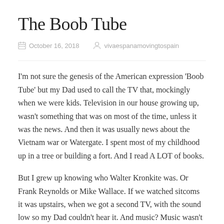The Boob Tube
October 16, 2018   vivaespanamovingtospain
I'm not sure the genesis of the American expression 'Boob Tube' but my Dad used to call the TV that, mockingly when we were kids. Television in our house growing up, wasn't something that was on most of the time, unless it was the news. And then it was usually news about the Vietnam war or Watergate. I spent most of my childhood up in a tree or building a fort. And I read A LOT of books.
But I grew up knowing who Walter Kronkite was. Or Frank Reynolds or Mike Wallace. If we watched sitcoms it was upstairs, when we got a second TV, with the sound low so my Dad couldn't hear it. And music? Music wasn't played in our house because my Dad was hard of hearing. I remember